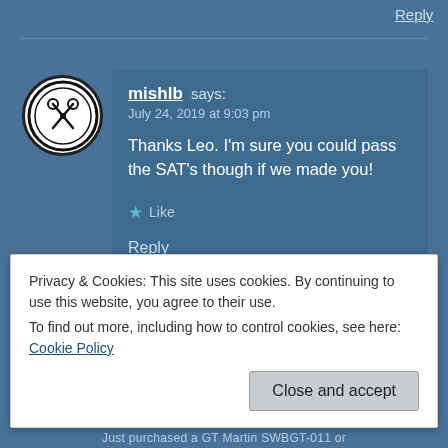Reply
[Figure (logo): Circular avatar logo with a stylized figure/scissors design in black and white]
mishlb says:
July 24, 2019 at 9:03 pm
Thanks Leo. I'm sure you could pass the SAT's though if we made you!
★ Like
Reply
Privacy & Cookies: This site uses cookies. By continuing to use this website, you agree to their use.
To find out more, including how to control cookies, see here: Cookie Policy
Close and accept
Just purchased a GT Martin SWBGT-011 or